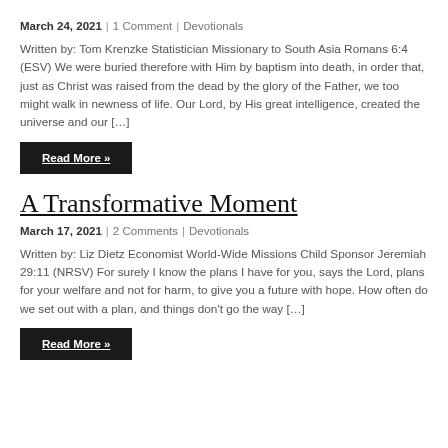March 24, 2021 | 1 Comment | Devotionals
Written by: Tom Krenzke Statistician Missionary to South Asia Romans 6:4 (ESV) We were buried therefore with Him by baptism into death, in order that, just as Christ was raised from the dead by the glory of the Father, we too might walk in newness of life. Our Lord, by His great intelligence, created the universe and our […]
Read More »
A Transformative Moment
March 17, 2021 | 2 Comments | Devotionals
Written by: Liz Dietz Economist World-Wide Missions Child Sponsor Jeremiah 29:11 (NRSV) For surely I know the plans I have for you, says the Lord, plans for your welfare and not for harm, to give you a future with hope. How often do we set out with a plan, and things don't go the way […]
Read More »